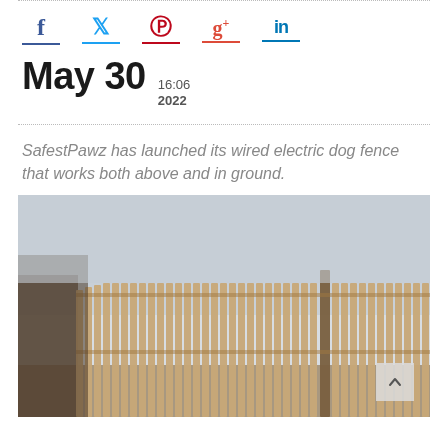[Figure (other): Social media sharing icons: Facebook (f), Twitter (bird), Pinterest (p), Google+ (g+), LinkedIn (in), each with a colored underline bar]
May 30  16:06  2022
SafestPawz has launched its wired electric dog fence that works both above and in ground.
[Figure (photo): Photograph of a wooden fence with vertical slats, photographed outdoors with a light sky background. A scroll-to-top button with an upward caret is visible in the lower right corner.]